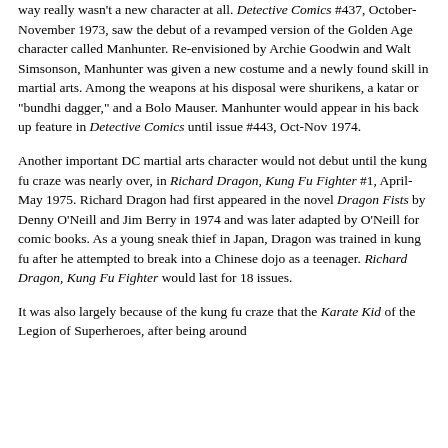way really wasn't a new character at all. Detective Comics #437, October-November 1973, saw the debut of a revamped version of the Golden Age character called Manhunter. Re-envisioned by Archie Goodwin and Walt Simsonson, Manhunter was given a new costume and a newly found skill in martial arts. Among the weapons at his disposal were shurikens, a katar or "bundhi dagger," and a Bolo Mauser. Manhunter would appear in his back up feature in Detective Comics until issue #443, Oct-Nov 1974.
Another important DC martial arts character would not debut until the kung fu craze was nearly over, in Richard Dragon, Kung Fu Fighter #1, April-May 1975. Richard Dragon had first appeared in the novel Dragon Fists by Denny O'Neill and Jim Berry in 1974 and was later adapted by O'Neill for comic books. As a young sneak thief in Japan, Dragon was trained in kung fu after he attempted to break into a Chinese dojo as a teenager. Richard Dragon, Kung Fu Fighter would last for 18 issues.
It was also largely because of the kung fu craze that the Karate Kid of the Legion of Superheroes, after being around